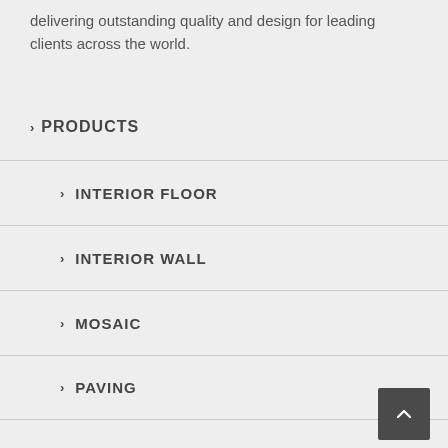delivering outstanding quality and design for leading clients across the world.
> PRODUCTS
> INTERIOR FLOOR
> INTERIOR WALL
> MOSAIC
> PAVING